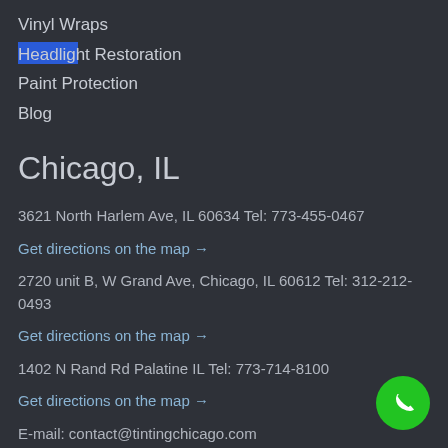Vinyl Wraps
Headlight Restoration
Paint Protection
Blog
Chicago, IL
3621 North Harlem Ave, IL 60634 Tel: 773-455-0467
Get directions on the map →
2720 unit B, W Grand Ave, Chicago, IL 60612 Tel: 312-212-0493
Get directions on the map →
1402 N Rand Rd Palatine IL Tel: 773-714-8100
Get directions on the map →
E-mail: contact@tintingchicago.com